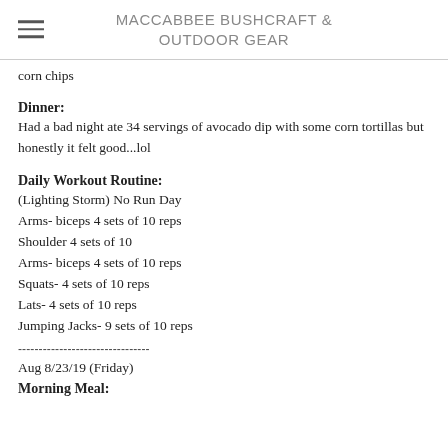MACCABBEE BUSHCRAFT & OUTDOOR GEAR
corn chips
Dinner:
Had a bad night ate 34 servings of avocado dip with some corn tortillas but honestly it felt good...lol
Daily Workout Routine:
(Lighting Storm) No Run Day
Arms- biceps 4 sets of 10 reps
Shoulder 4 sets of 10
Arms- biceps 4 sets of 10 reps
Squats- 4 sets of 10 reps
Lats- 4 sets of 10 reps
Jumping Jacks- 9 sets of 10 reps
--------------------------------
Aug 8/23/19  (Friday)
Morning Meal: